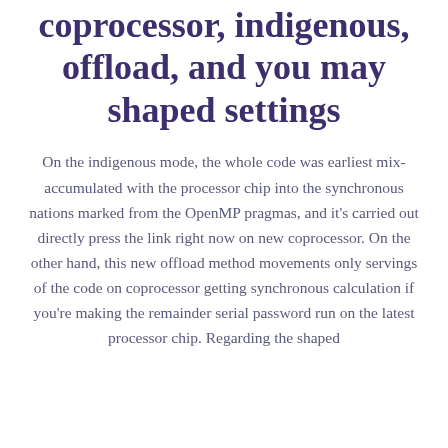coprocessor, indigenous, offload, and you may shaped settings
On the indigenous mode, the whole code was earliest mix-accumulated with the processor chip into the synchronous nations marked from the OpenMP pragmas, and it's carried out directly press the link right now on new coprocessor. On the other hand, this new offload method movements only servings of the code on coprocessor getting synchronous calculation if you're making the remainder serial password run on the latest processor chip. Regarding the shaped